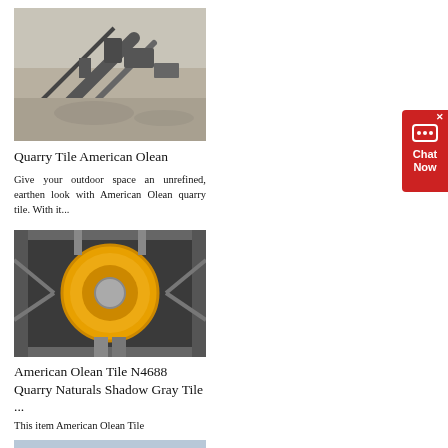[Figure (photo): Aerial view of quarry mining equipment and conveyor belts on sandy/rocky terrain]
Quarry Tile American Olean
Give your outdoor space an unrefined, earthen look with American Olean quarry tile. With it...
[Figure (photo): Industrial quarry tile manufacturing equipment with large yellow drum/cylinder and metal scaffolding]
American Olean Tile N4688 Quarry Naturals Shadow Gray Tile ...
This item American Olean Tile ...
[Figure (photo): Outdoor quarry scene, partially visible at bottom of page]
[Figure (infographic): Red chat now widget button on right side of page with X close button and speech bubble icon]